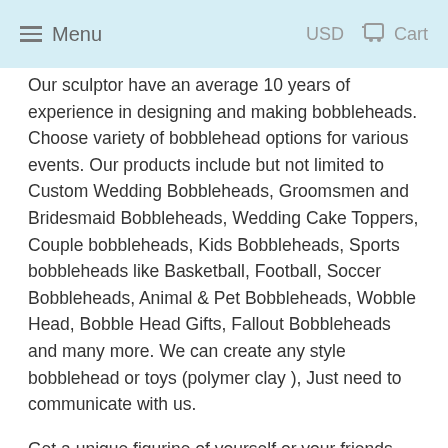Menu   USD   Cart
Our sculptor have an average 10 years of experience in designing and making bobbleheads. Choose variety of bobblehead options for various events. Our products include but not limited to Custom Wedding Bobbleheads, Groomsmen and Bridesmaid Bobbleheads, Wedding Cake Toppers, Couple bobbleheads, Kids Bobbleheads, Sports bobbleheads like Basketball, Football, Soccer Bobbleheads, Animal & Pet Bobbleheads, Wobble Head, Bobble Head Gifts, Fallout Bobbleheads and many more. We can create any style bobblehead or toys (polymer clay ), Just need to communicate with us.
Get a unique figurine of yourself or your friends. This completely personalized portrait figurine makes a truly extraordinary gift too!
all of our body models, change bobblehead pose and outfit are for free. if you need any change on your bobblehead, please talk to us, we are so glad to serve them...